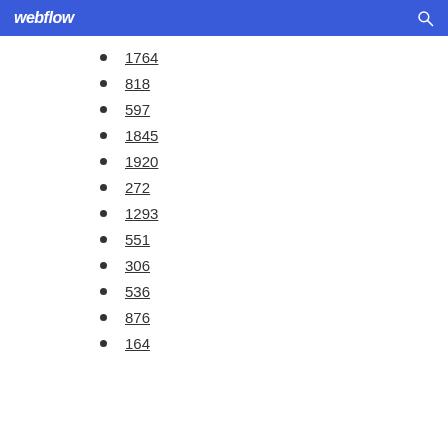webflow
1764
818
597
1845
1920
272
1293
551
306
536
876
164